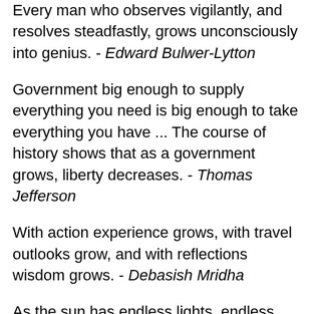Every man who observes vigilantly, and resolves steadfastly, grows unconsciously into genius. - Edward Bulwer-Lytton
Government big enough to supply everything you need is big enough to take everything you have ... The course of history shows that as a government grows, liberty decreases. - Thomas Jefferson
With action experience grows, with travel outlooks grow, and with reflections wisdom grows. - Debasish Mridha
As the sun has endless lights, endless power, endless warmth, so do you also have endless love with endless power and,